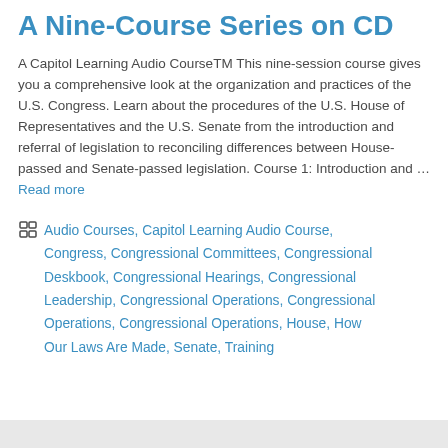A Nine-Course Series on CD
A Capitol Learning Audio CourseTM This nine-session course gives you a comprehensive look at the organization and practices of the U.S. Congress. Learn about the procedures of the U.S. House of Representatives and the U.S. Senate from the introduction and referral of legislation to reconciling differences between House-passed and Senate-passed legislation. Course 1: Introduction and … Read more
Categories: Audio Courses, Capitol Learning Audio Course, Congress, Congressional Committees, Congressional Deskbook, Congressional Hearings, Congressional Leadership, Congressional Operations, Congressional Operations, Congressional Operations, House, How Our Laws Are Made, Senate, Training